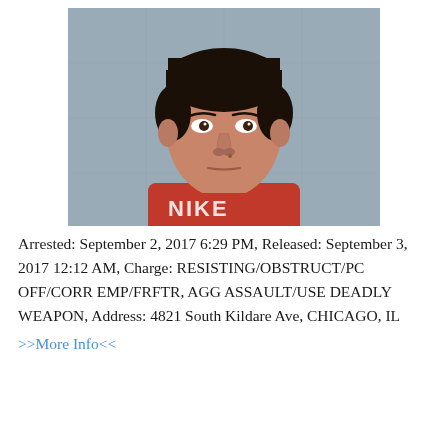[Figure (photo): Mugshot of a young male wearing a red Nike shirt, photographed against a gray concrete wall background.]
Arrested: September 2, 2017 6:29 PM, Released: September 3, 2017 12:12 AM, Charge: RESISTING/OBSTRUCT/PC OFF/CORR EMP/FRFTR, AGG ASSAULT/USE DEADLY WEAPON, Address: 4821 South Kildare Ave, CHICAGO, IL
>>More Info<<